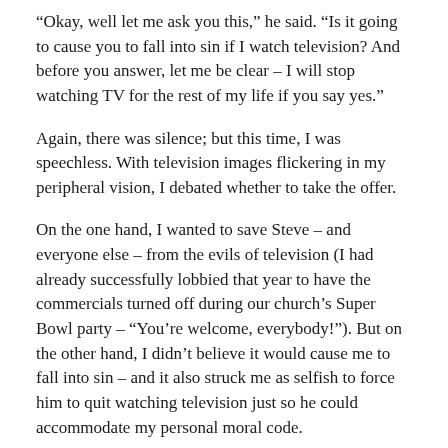“Okay, well let me ask you this,” he said. “Is it going to cause you to fall into sin if I watch television? And before you answer, let me be clear – I will stop watching TV for the rest of my life if you say yes.”
Again, there was silence; but this time, I was speechless. With television images flickering in my peripheral vision, I debated whether to take the offer.
On the one hand, I wanted to save Steve – and everyone else – from the evils of television (I had already successfully lobbied that year to have the commercials turned off during our church’s Super Bowl party – “You’re welcome, everybody!”). But on the other hand, I didn’t believe it would cause me to fall into sin – and it also struck me as selfish to force him to quit watching television just so he could accommodate my personal moral code.